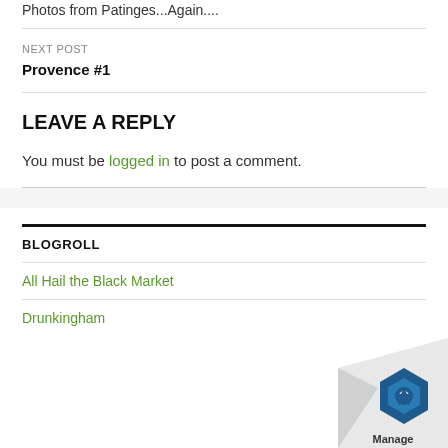Photos from Patinges...Again....
NEXT POST
Provence #1
LEAVE A REPLY
You must be logged in to post a comment.
BLOGROLL
All Hail the Black Market
Drunkingham